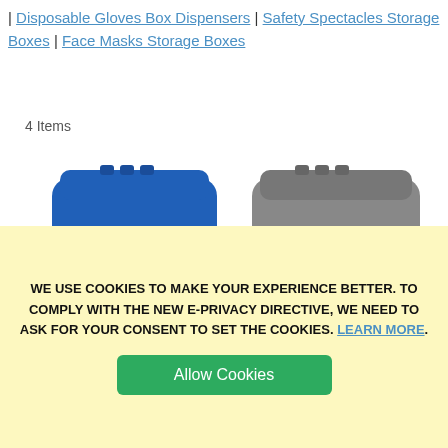| Disposable Gloves Box Dispensers | Safety Spectacles Storage Boxes | Face Masks Storage Boxes
4 Items
[Figure (photo): Two glove box dispensers side by side: one blue with a white glove icon and one gray/dark with a blue glove icon circle.]
WE USE COOKIES TO MAKE YOUR EXPERIENCE BETTER. TO COMPLY WITH THE NEW E-PRIVACY DIRECTIVE, WE NEED TO ASK FOR YOUR CONSENT TO SET THE COOKIES. LEARN MORE.
Allow Cookies